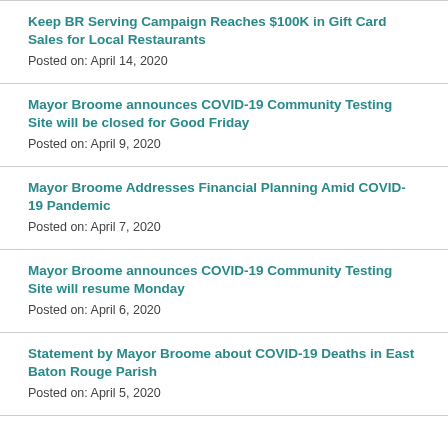Keep BR Serving Campaign Reaches $100K in Gift Card Sales for Local Restaurants
Posted on: April 14, 2020
Mayor Broome announces COVID-19 Community Testing Site will be closed for Good Friday
Posted on: April 9, 2020
Mayor Broome Addresses Financial Planning Amid COVID-19 Pandemic
Posted on: April 7, 2020
Mayor Broome announces COVID-19 Community Testing Site will resume Monday
Posted on: April 6, 2020
Statement by Mayor Broome about COVID-19 Deaths in East Baton Rouge Parish
Posted on: April 5, 2020